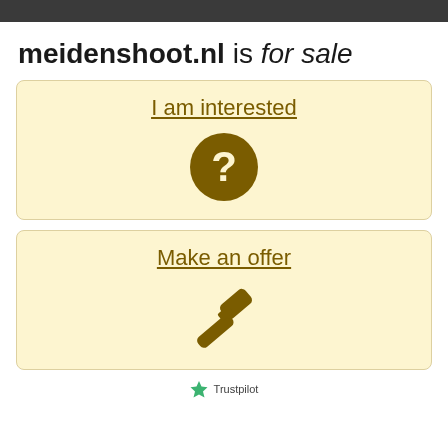meidenshoot.nl is for sale
I am interested
Make an offer